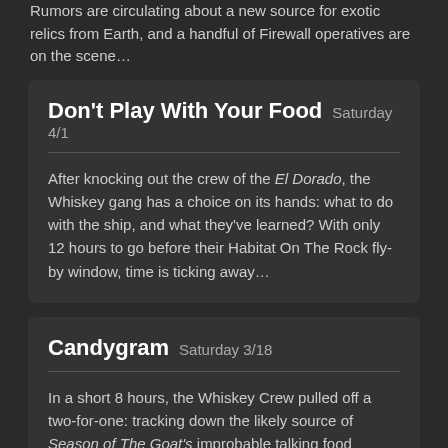Rumors are circulating about a new source for exotic relics from Earth, and a handful of Firewall operatives are on the scene…
Don't Play With Your Food  Saturday 4/1
After knocking out the crew of the El Dorado, the Whiskey gang has a choice on its hands: what to do with the ship, and what they've learned? With only 12 hours to go before their Habitat On The Rock fly-by window, time is ticking away…
Candygram  Saturday 3/18
In a short 8 hours, the Whiskey Crew pulled off a two-for-one: tracking down the likely source of Season of The Goat's improbable talking food epidemic, and getting close enough to the Cartel-chartered El Dorado hauler to discover its cargo. In addition to rare isotopes and fabrication stocks, the otherwise innocuous freighter packed two piracy-ready boarding pods, cleverly disguised as shipping containers